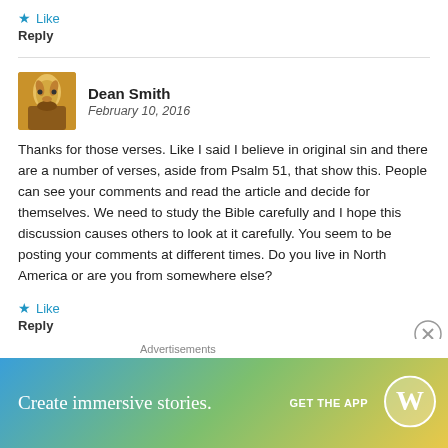★ Like
Reply
Dean Smith
February 10, 2016
Thanks for those verses. Like I said I believe in original sin and there are a number of verses, aside from Psalm 51, that show this. People can see your comments and read the article and decide for themselves. We need to study the Bible carefully and I hope this discussion causes others to look at it carefully. You seem to be posting your comments at different times. Do you live in North America or are you from somewhere else?
★ Like
Reply
[Figure (screenshot): WordPress advertisement banner: Create immersive stories. GET THE APP with WordPress logo]
Advertisements